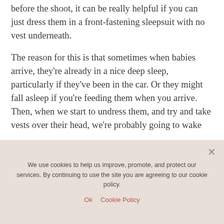before the shoot, it can be really helpful if you can just dress them in a front-fastening sleepsuit with no vest underneath.
The reason for this is that sometimes when babies arrive, they're already in a nice deep sleep, particularly if they've been in the car. Or they might fall asleep if you're feeding them when you arrive. Then, when we start to undress them, and try and take vests over their head, we're probably going to wake
We use cookies to help us improve, promote, and protect our services. By continuing to use the site you are agreeing to our cookie policy.
Ok   Cookie Policy